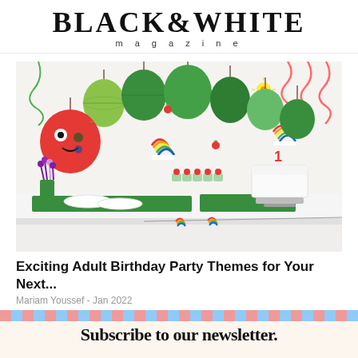BLACK&WHITE magazine
[Figure (photo): Colorful children's birthday party table setup with The Very Hungry Caterpillar theme. Green and red paper lanterns hanging from ceiling, rainbow decorations, cupcakes, a white cake with number 1, plates and cups with caterpillar motif, purple flowers, and a bunting banner along the table front.]
Exciting Adult Birthday Party Themes for Your Next...
Mariam Youssef - Jan 2022
Subscribe to our newsletter.